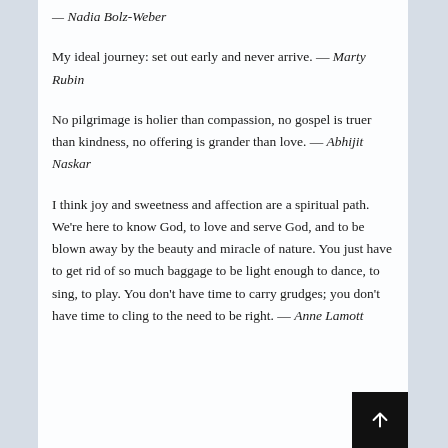— Nadia Bolz-Weber
My ideal journey: set out early and never arrive. — Marty Rubin
No pilgrimage is holier than compassion, no gospel is truer than kindness, no offering is grander than love. — Abhijit Naskar
I think joy and sweetness and affection are a spiritual path. We're here to know God, to love and serve God, and to be blown away by the beauty and miracle of nature. You just have to get rid of so much baggage to be light enough to dance, to sing, to play. You don't have time to carry grudges; you don't have time to cling to the need to be right. — Anne Lamott